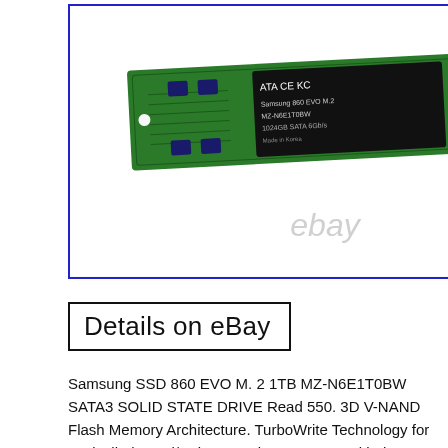[Figure (photo): Photo of Samsung SSD 860 EVO M.2 1TB solid state drive circuit board on white background, with eBay watermark. Blue border around image.]
Details on eBay
Samsung SSD 860 EVO M. 2 1TB MZ-N6E1T0BW SATA3 SOLID STATE DRIVE Read 550. 3D V-NAND Flash Memory Architecture. TurboWrite Technology for Unrivalled Read/Write Speeds. Fast Lane with the Improved RAPID Mode. Guaranteed Endurance and Reliability Bolstered by 3D V-NAND Technology. Compute Longer with Improved Energy Efficiency backed by 3D V-NAND. Secure Valuable Data through Advanced AES 256